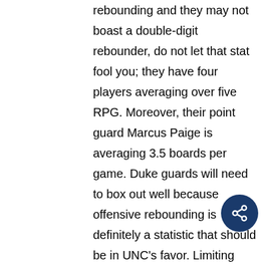rebounding and they may not boast a double-digit rebounder, do not let that stat fool you; they have four players averaging over five RPG. Moreover, their point guard Marcus Paige is averaging 3.5 boards per game. Duke guards will need to box out well because offensive rebounding is definitely a statistic that should be in UNC's favor. Limiting UNC to one shot per possession will be huge for Duke, while manufacturing offensive rebounding on the other end will be just as important.
Duke will have to do a much better job early of defending, especially on the penetration...